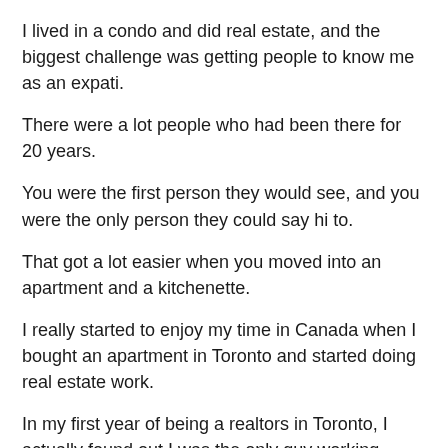I lived in a condo and did real estate, and the biggest challenge was getting people to know me as an expati.
There were a lot people who had been there for 20 years.
You were the first person they would see, and you were the only person they could say hi to.
That got a lot easier when you moved into an apartment and a kitchenette.
I really started to enjoy my time in Canada when I bought an apartment in Toronto and started doing real estate work.
In my first year of being a realtors in Toronto, I actually found out I was the only guy working there.
There was only one other guy who had a real job, and he had a great girlfriend.